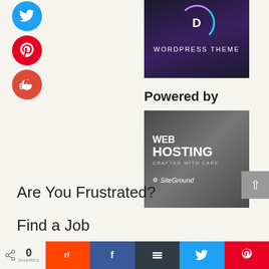[Figure (illustration): Social media share icons: Twitter (blue circle), Pinterest (red circle), Google+ (red-orange circle), stacked vertically on the left side]
[Figure (illustration): Divi WordPress Theme promotional banner image with dark purple background and circular D logo]
Powered by
[Figure (illustration): SiteGround web hosting advertisement showing 'WEB HOSTING CRAFTED WITH CARE' with SiteGround logo on dark background]
[Figure (illustration): Scroll to top button - grey square with upward arrow]
Are You Frustrated?
Find a Job
0 SHARES — share buttons for Reddit, Facebook, Buffer, Twitter, Pinterest